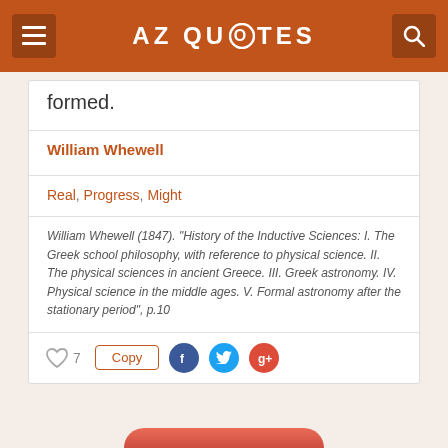AZ QUOTES
formed.
William Whewell
Real, Progress, Might
William Whewell (1847). “History of the Inductive Sciences: I. The Greek school philosophy, with reference to physical science. II. The physical sciences in ancient Greece. III. Greek astronomy. IV. Physical science in the middle ages. V. Formal astronomy after the stationary period”, p.10
7   Copy